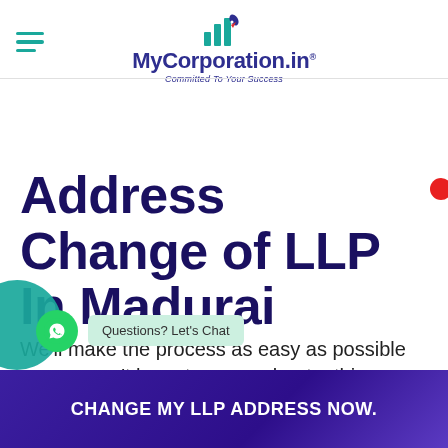MyCorporation.in — Committed To Your Success
Address Change of LLP In Madurai
We'll make the process as easy as possible so you won't have to worry about a thing
Questions? Let's Chat
CHANGE MY LLP ADDRESS NOW.